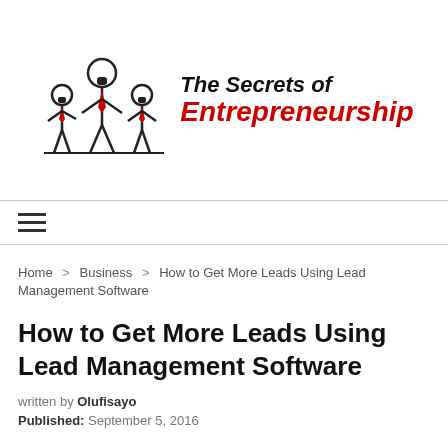[Figure (logo): The Secrets of Entrepreneurship website logo — three stick-figure characters with red ties on the left, bold italic text on the right reading 'The Secrets of Entrepreneurship' with 'Entrepreneurship' in red]
Home > Business > How to Get More Leads Using Lead Management Software
How to Get More Leads Using Lead Management Software
written by Olufisayo
Published: September 5, 2016